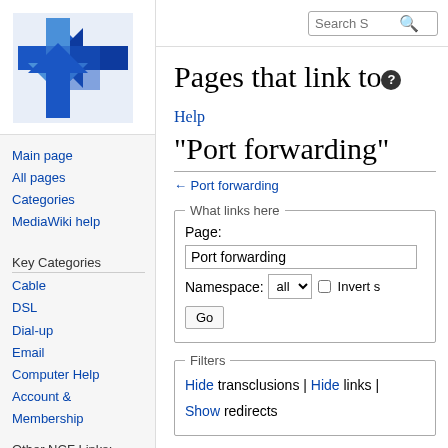[Figure (logo): NCF/Wiki logo: blue arrow/cross geometric shapes on white background]
Main page
All pages
Categories
MediaWiki help
Key Categories
Cable
DSL
Dial-up
Email
Computer Help
Account & Membership
Other NCF Links:
Pages that link to "Port forwarding"
← Port forwarding
Page: Port forwarding
Namespace: all  Invert s
Go
Hide transclusions | Hide links | Show redirects